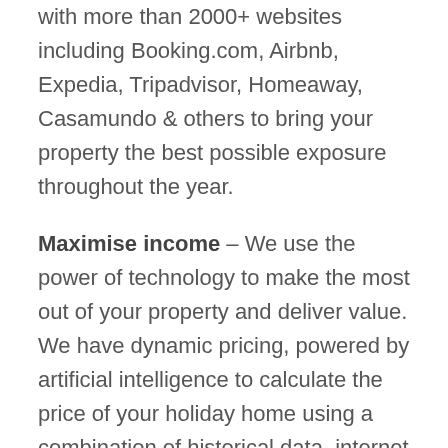with more than 2000+ websites including Booking.com, Airbnb, Expedia, Tripadvisor, Homeaway, Casamundo & others to bring your property the best possible exposure throughout the year.
Maximise income – We use the power of technology to make the most out of your property and deliver value. We have dynamic pricing, powered by artificial intelligence to calculate the price of your holiday home using a combination of historical data, internet searches, market and competitor data and analytics. This way the price for your vacation home is set automatically and it reflects the real-